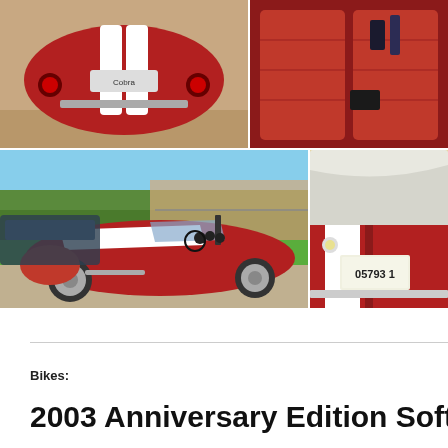[Figure (photo): Red Shelby Cobra replica car rear view with white racing stripes, shown against beige wall background]
[Figure (photo): Red leather interior of a sports car, showing seats and dashboard area]
[Figure (photo): Red Shelby Cobra replica car with white racing stripes, parked on driveway in front of suburban house with green lawn]
[Figure (photo): Close-up of red car hood with white racing stripe and a license plate reading 05793 1]
Bikes:
2003 Anniversary Edition Soft Ta